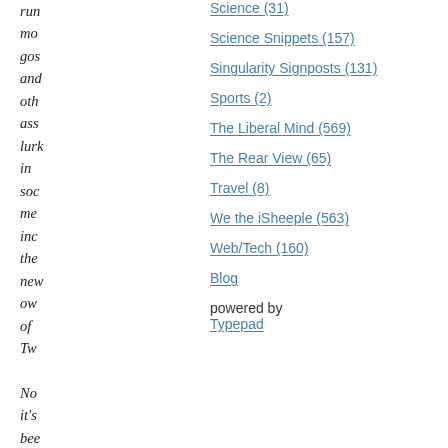run mo gos and oth ass lurk in soc me inc the new own of Tw
Science (31)
Science Snippets (157)
Singularity Signposts (131)
Sports (2)
The Liberal Mind (569)
The Rear View (65)
Travel (8)
We the iSheeple (563)
Web/Tech (160)
Blog powered by Typepad
No it's bee no sec for